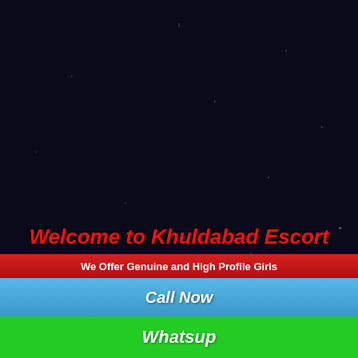Khuldabad Celebrity Escorts
Khuldabad Teen Escorts
Khuldabad Punjabi Escorts
Khuldabad VIP Escorts
Khuldabad High Profile Escorts
Khuldabad South Indian Escorts
Khuldabad Kashmir Escorts
Khuldabad Collage Girls Escorts
Welcome to Khuldabad Escort Service by Miss Denizli
We Offer Genuine and High Profile Girls
Call Now
Whatsup